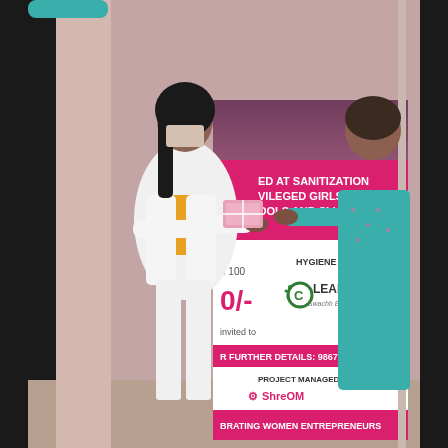[Figure (photo): A woman wearing a white jacket and yellow top with a face mask hands a pink package to another woman in a teal/green salwar kameez. Between them is a banner for a sanitization project aimed at underprivileged girls in schools and slums. The banner shows text including 'ED AT SANITIZATION', 'VILEGED GIRLS IN', 'OOLS AND SLUMS', 'HYGIENE PARTNER', 'CLEAHYY ...Swachh Bharat', 'R FURTHER DETAILS: 9867210670', 'PROJECT MANAGED BY ShreOM', and 'BRATING WOMEN ENTREPRENEURS'.]